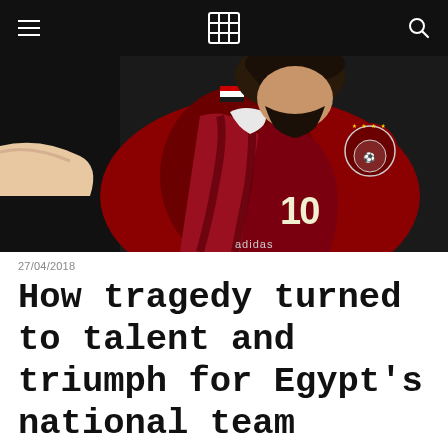TFT navigation bar with hamburger menu, logo, and search icon
[Figure (photo): A football player wearing Egypt national team red jersey number 10 with adidas logo and Egyptian Football Association crest with stars]
27/04/2018
How tragedy turned to talent and triumph for Egypt’s national team